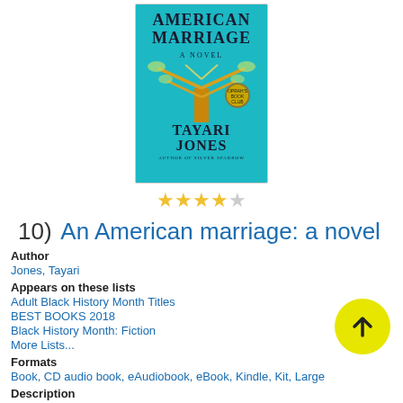[Figure (illustration): Book cover of 'An American Marriage: A Novel' by Tayari Jones. Teal/turquoise background with a stylized tree and the text 'American Marriage A Novel Tayari Jones Author of Silver Sparrow' with an Oprah's Book Club badge.]
[Figure (other): Four filled yellow stars and one empty star indicating a 4 out of 5 star rating.]
10)  An American marriage: a novel
Author
Jones, Tayari
Appears on these lists
Adult Black History Month Titles
BEST BOOKS 2018
Black History Month: Fiction
More Lists...
Formats
Book, CD audio book, eAudiobook, eBook, Kindle, Kit, Large
Description
Read Description